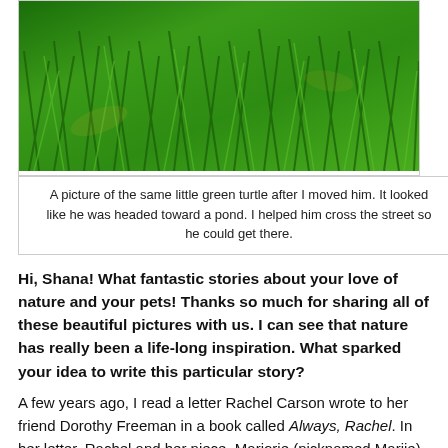[Figure (photo): Close-up photo of green grass blades filling the entire frame]
A picture of the same little green turtle after I moved him. It looked like he was headed toward a pond. I helped him cross the street so he could get there.
Hi, Shana! What fantastic stories about your love of nature and your pets! Thanks so much for sharing all of these beautiful pictures with us. I can see that nature has really been a life-long inspiration. What sparked your idea to write this particular story?
A few years ago, I read a letter Rachel Carson wrote to her friend Dorothy Freeman in a book called Always, Rachel. In her letter, Rachel and her niece, Marjorie (nicknamed Marjie), came across a firefly while at her summer home in Southport, Maine. Around midnight, Rachel and Marjie headed down to the shore to secure Marjie's son's raft.
On the shore, they turned their flashlights off and saw a sea